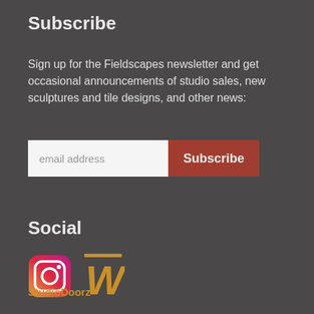Subscribe
Sign up for the Fieldscapes newsletter and get occasional announcements of studio sales, new sculptures and tile designs, and other news:
[Figure (other): Email subscription form with text input labeled 'email address' and a dark red 'Subscribe' button]
Social
[Figure (other): Social media icons: Instagram icon and a W (StudioDoorz/Wix) icon]
StudioDoorz